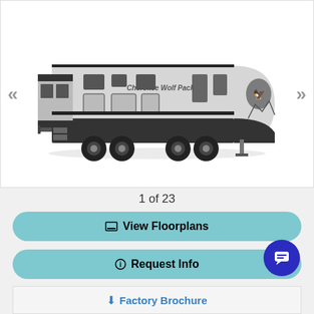[Figure (photo): Side view of a Cherokee Wolf Pack travel trailer RV with silver and black exterior, slide-out section visible, dual axle with black wheels, stabilizer jacks deployed, navigation arrows on left and right sides of image]
1 of 23
View Floorplans
Request Info
Factory Brochure